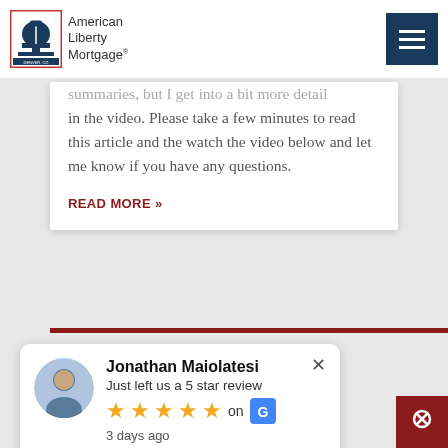American Liberty Mortgage — Denver, CO
summaries, but I get into a bit more detail in the video. Please take a few minutes to read this article and the watch the video below and let me know if you have any questions.
READ MORE »
[Figure (screenshot): Jonathan Maiolatesi review popup: Just left us a 5 star review, 5 gold stars, on Google, 3 days ago]
[Figure (logo): Location/map pin icon button in dark red]